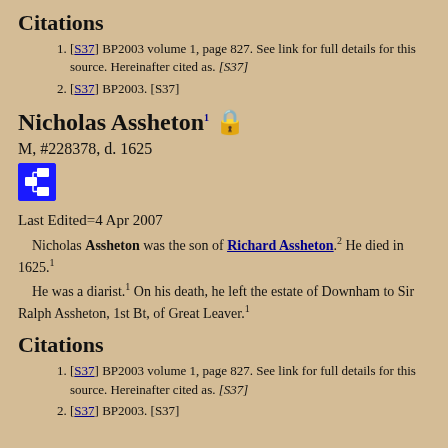Citations
[S37] BP2003 volume 1, page 827. See link for full details for this source. Hereinafter cited as. [S37]
[S37] BP2003. [S37]
Nicholas Assheton
M, #228378, d. 1625
[Figure (infographic): Blue pedigree/family tree icon button]
Last Edited=4 Apr 2007
Nicholas Assheton was the son of Richard Assheton. He died in 1625.
He was a diarist. On his death, he left the estate of Downham to Sir Ralph Assheton, 1st Bt, of Great Leaver.
Citations
[S37] BP2003 volume 1, page 827. See link for full details for this source. Hereinafter cited as. [S37]
[S37] BP2003. [S37]